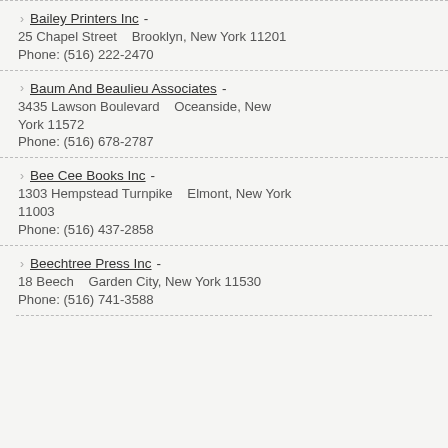Bailey Printers Inc - 25 Chapel Street    Brooklyn, New York 11201 Phone: (516) 222-2470
Baum And Beaulieu Associates - 3435 Lawson Boulevard    Oceanside, New York 11572 Phone: (516) 678-2787
Bee Cee Books Inc - 1303 Hempstead Turnpike    Elmont, New York 11003 Phone: (516) 437-2858
Beechtree Press Inc - 18 Beech    Garden City, New York 11530 Phone: (516) 741-3588